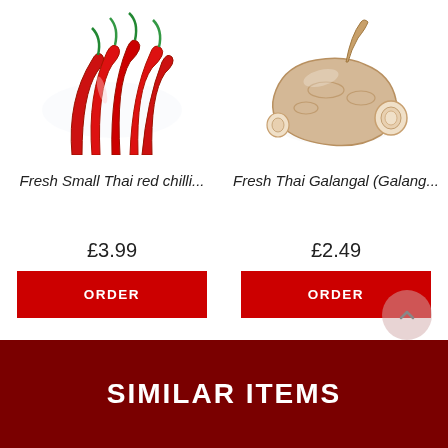[Figure (photo): Red Thai chilli peppers bundled together on white background]
[Figure (photo): Fresh Thai Galangal root pieces on white background]
Fresh Small Thai red chilli...
Fresh Thai Galangal (Galang...
£3.99
ORDER
£2.49
ORDER
SIMILAR ITEMS